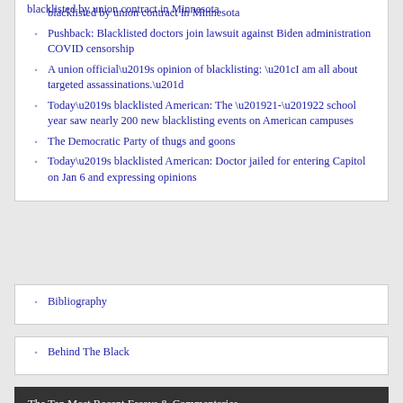blacklisted by union contract in Minnesota
Pushback: Blacklisted doctors join lawsuit against Biden administration COVID censorship
A union official’s opinion of blacklisting: “I am all about targeted assassinations.”
Today’s blacklisted American: The ’21-’22 school year saw nearly 200 new blacklisting events on American campuses
The Democratic Party of thugs and goons
Today’s blacklisted American: Doctor jailed for entering Capitol on Jan 6 and expressing opinions
Bibliography
Behind The Black
The Ten Most Recent Essays & Commentaries